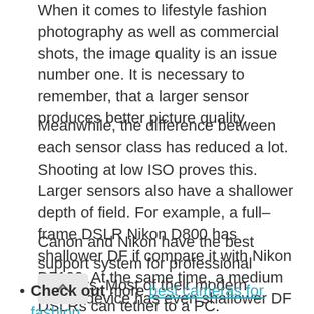When it comes to lifestyle fashion photography as well as commercial shots, the image quality is an issue number one. It is necessary to remember, that a larger sensor produces better picture quality.
Meanwhile, the difference between each sensor class has reduced a lot. Shooting at low ISO proves this. Larger sensors also have a shallower depth of field. For example, a full–frame DSLR Nikon D800 has shallower DF if compare it with Nikon D7100. At the same time, a medium format device has even shallower DF in comparison with D800 (but it's so expensive).
Canon and Nikon have the best support system for professional shooters. Most of their modern DSLRs can tether to a PC.
Check out more best cameras for fashion photography